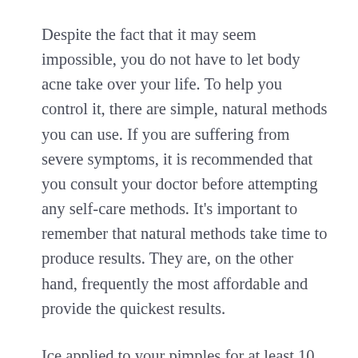Despite the fact that it may seem impossible, you do not have to let body acne take over your life. To help you control it, there are simple, natural methods you can use. If you are suffering from severe symptoms, it is recommended that you consult your doctor before attempting any self-care methods. It's important to remember that natural methods take time to produce results. They are, on the other hand, frequently the most affordable and provide the quickest results.
Ice applied to your pimples for at least 10 minutes at a time will help to reduce the redness and swelling associated with pimples. This will not only help to alleviate the discomfort, but it will also aid in the clearing up of the acne more quickly. This is accomplished by placing a small piece of ice on